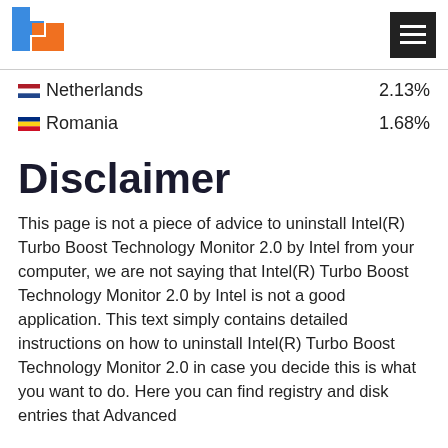[Figure (logo): Website logo with blue and orange squares, and hamburger menu icon]
Netherlands  2.13%
Romania  1.68%
Disclaimer
This page is not a piece of advice to uninstall Intel(R) Turbo Boost Technology Monitor 2.0 by Intel from your computer, we are not saying that Intel(R) Turbo Boost Technology Monitor 2.0 by Intel is not a good application. This text simply contains detailed instructions on how to uninstall Intel(R) Turbo Boost Technology Monitor 2.0 in case you decide this is what you want to do. Here you can find registry and disk entries that Advanced